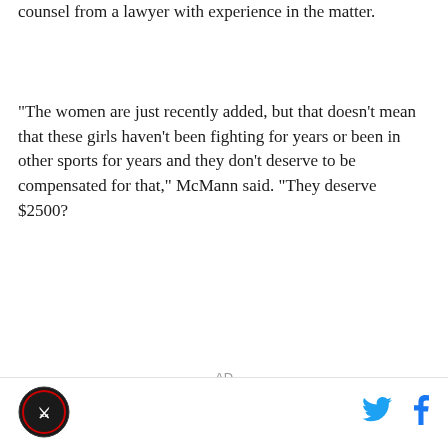counsel from a lawyer with experience in the matter.
"The women are just recently added, but that doesn't mean that these girls haven't been fighting for years or been in other sports for years and they don't deserve to be compensated for that," McMann said. "They deserve $2500?
AD
[logo] [twitter icon] [facebook icon]